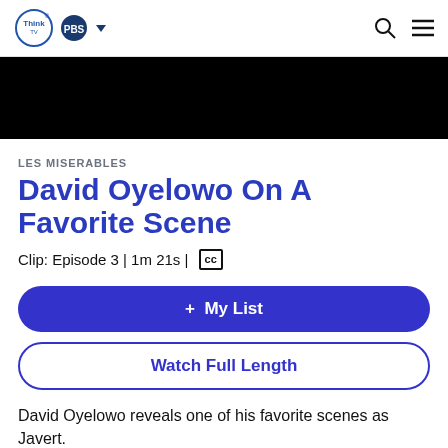ThinkTV PBS
[Figure (screenshot): Black video player banner area]
LES MISERABLES
David Oyelowo On A Favorite Scene
Clip: Episode 3 | 1m 21s | CC
+ My List
Watch Full Length
David Oyelowo reveals one of his favorite scenes as Javert.